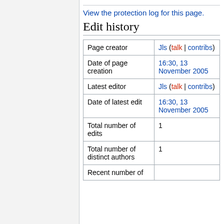View the protection log for this page.
Edit history
| Page creator | Jls (talk | contribs) |
| Date of page creation | 16:30, 13 November 2005 |
| Latest editor | Jls (talk | contribs) |
| Date of latest edit | 16:30, 13 November 2005 |
| Total number of edits | 1 |
| Total number of distinct authors | 1 |
| Recent number of ... |  |